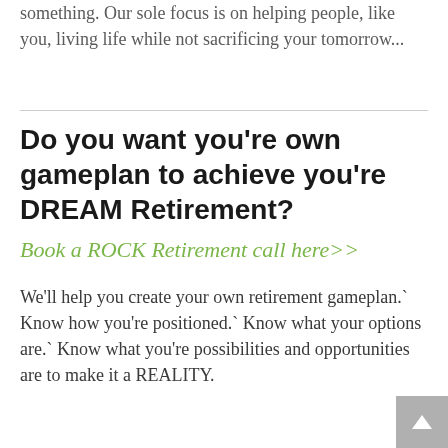something. Our sole focus is on helping people, like you, living life while not sacrificing your tomorrow...
Do you want you're own gameplan to achieve you're DREAM Retirement?
Book a ROCK Retirement call here>>
We'll help you create your own retirement gameplan.` Know how you're positioned.` Know what your options are.` Know what you're possibilities and opportunities are to make it a REALITY.